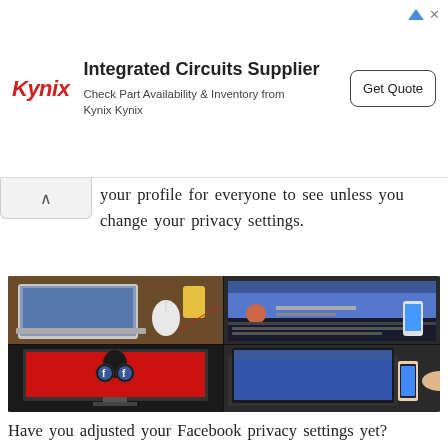[Figure (other): Kynix advertisement banner — Integrated Circuits Supplier. Logo: Kynix in red italic. Headline: Integrated Circuits Supplier. Subtext: Check Part Availability & Inventory from Kynix Kynix. Button: Get Quote.]
your profile for everyone to see unless you change your privacy settings.
[Figure (photo): A 2x2 photo collage showing Facebook-related imagery: top-left shows a laptop and Apple mouse on a wooden desk, top-right shows a Facebook profile page on a laptop screen with a phone, bottom-left shows a monitor displaying a person looking through binoculars with Facebook logos, bottom-right continues the laptop/phone scene.]
Have you adjusted your Facebook privacy settings yet?